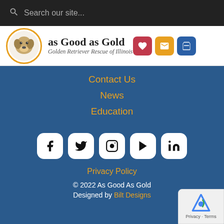Search our site...
[Figure (logo): As Good as Gold - Golden Retriever Rescue of Illinois logo with golden retriever dog in circular frame with orange border, site name and subtitle, plus heart, mail, cart icons and hamburger menu]
Contact Us
News
Education
[Figure (illustration): Social media icons row: Facebook, Twitter, Instagram, YouTube, LinkedIn - white rounded square buttons on blue background]
Privacy Policy
© 2022 As Good As Gold
Designed by Bilt Designs